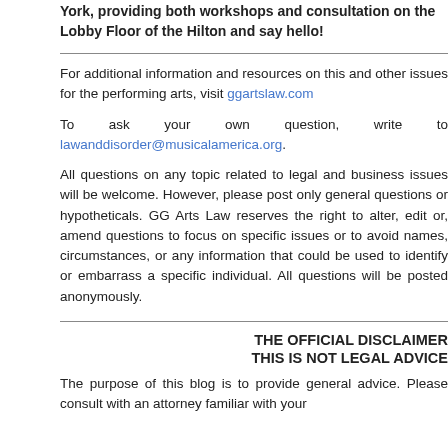York, providing both workshops and consultation on the Lobby Floor of the Hilton and say hello!
For additional information and resources on this and other issues for the performing arts, visit ggartslaw.com
To ask your own question, write to lawanddisorder@musicalamerica.org.
All questions on any topic related to legal and business issues will be welcome. However, please post only general questions or hypotheticals. GG Arts Law reserves the right to alter, edit or, amend questions to focus on specific issues or to avoid names, circumstances, or any information that could be used to identify or embarrass a specific individual. All questions will be posted anonymously.
THE OFFICIAL DISCLAIMER
THIS IS NOT LEGAL ADVICE
The purpose of this blog is to provide general advice. Please consult with an attorney familiar with your situation.